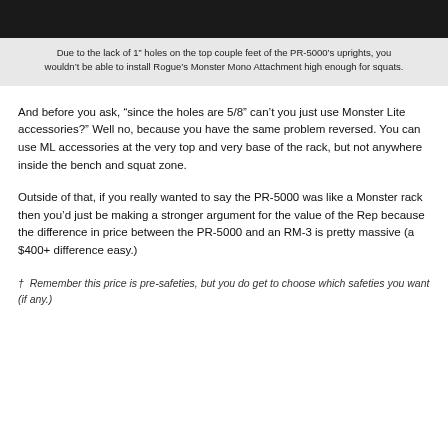[Figure (photo): Dark photo showing rack uprights/equipment, partially cropped at top of page]
Due to the lack of 1" holes on the top couple feet of the PR-5000's uprights, you wouldn't be able to install Rogue's Monster Mono Attachment high enough for squats.
And before you ask, "since the holes are 5/8" can't you just use Monster Lite accessories?" Well no, because you have the same problem reversed. You can use ML accessories at the very top and very base of the rack, but not anywhere inside the bench and squat zone.
Outside of that, if you really wanted to say the PR-5000 was like a Monster rack then you'd just be making a stronger argument for the value of the Rep because the difference in price between the PR-5000 and an RM-3 is pretty massive (a $400+ difference easy.)
†  Remember this price is pre-safeties, but you do get to choose which safeties you want (if any.)